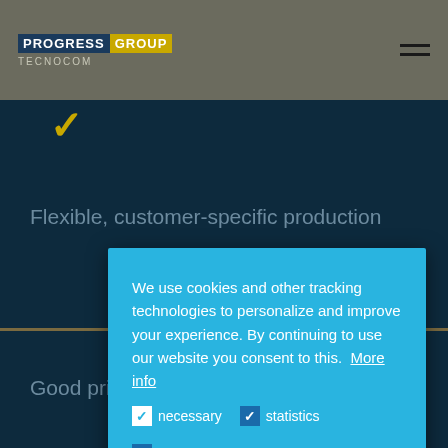PROGRESS GROUP TECNOCOM
Flexible, customer-specific production
We use cookies and other tracking technologies to personalize and improve your experience. By continuing to use our website you consent to this. More info
necessary
statistics
marketing
Continue
allow all!
Good price-performance ratio